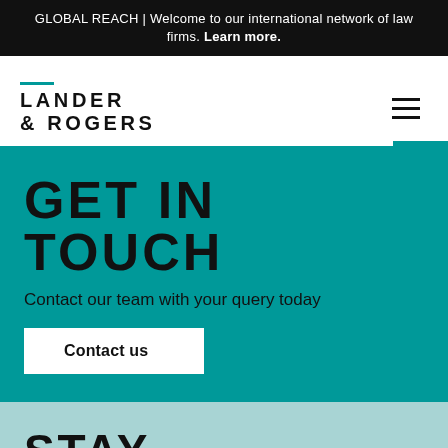GLOBAL REACH | Welcome to our international network of law firms. Learn more.
[Figure (logo): Lander & Rogers law firm logo with teal underline accent]
GET IN TOUCH
Contact our team with your query today
Contact us
STAY INFORMED